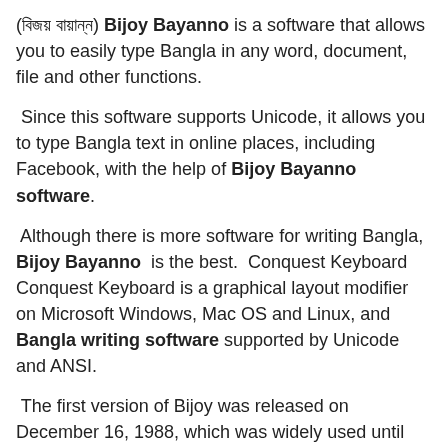(বিজয় বায়ান্ন) Bijoy Bayanno is a software that allows you to easily type Bangla in any word, document, file and other functions.
Since this software supports Unicode, it allows you to type Bangla text in online places, including Facebook, with the help of Bijoy Bayanno software.
Although there is more software for writing Bangla, Bijoy Bayanno is the best. Conquest Keyboard Conquest Keyboard is a graphical layout modifier on Microsoft Windows, Mac OS and Linux, and Bangla writing software supported by Unicode and ANSI.
The first version of Bijoy was released on December 16, 1988, which was widely used until the arrival of the Unicode-based Avro keyboard.